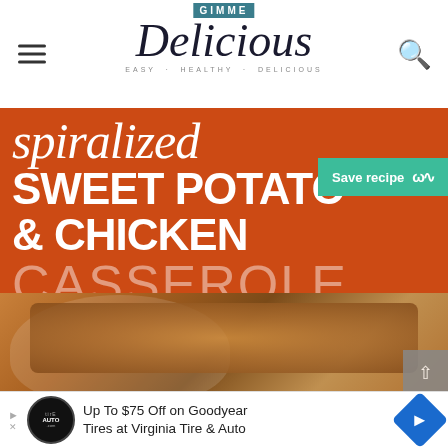GIMME Delicious · EASY · HEALTHY · DELICIOUS
[Figure (photo): Spiralized Sweet Potato & Chicken Casserole recipe hero image with orange background and food photo. Includes 'Save recipe' button in teal.]
spiralized SWEET POTATO & CHICKEN CASSEROLE
Up To $75 Off on Goodyear Tires at Virginia Tire & Auto